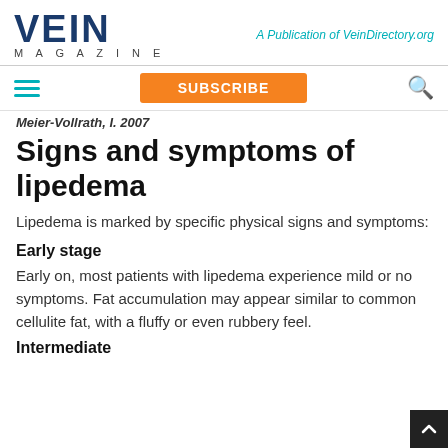VEIN MAGAZINE — A Publication of VeinDirectory.org
Meier-Vollrath, I. 2007
Signs and symptoms of lipedema
Lipedema is marked by specific physical signs and symptoms:
Early stage
Early on, most patients with lipedema experience mild or no symptoms. Fat accumulation may appear similar to common cellulite fat, with a fluffy or even rubbery feel.
Intermediate